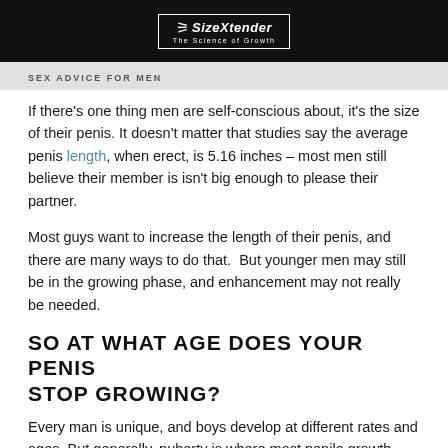SizeXtender – The Science of Growth
SEX ADVICE FOR MEN
If there's one thing men are self-conscious about, it's the size of their penis. It doesn't matter that studies say the average penis length, when erect, is 5.16 inches – most men still believe their member is isn't big enough to please their partner.
Most guys want to increase the length of their penis, and there are many ways to do that.  But younger men may still be in the growing phase, and enhancement may not really be needed.
SO AT WHAT AGE DOES YOUR PENIS STOP GROWING?
Every man is unique, and boys develop at different rates and ages. But generally, puberty is where most penile growth takes place, usually between the ages of 11 and 18. During this